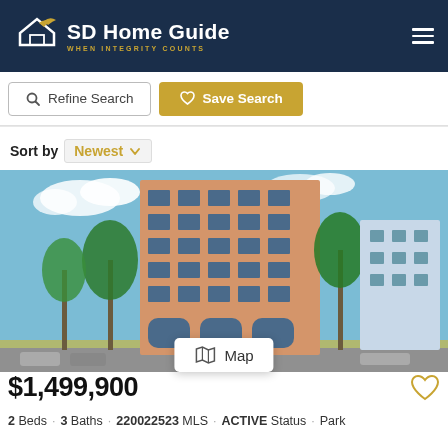SD Home Guide — When Integrity Counts
Refine Search
Save Search
Sort by Newest
[Figure (photo): Exterior photo of a tall multi-story condominium building with palm trees in front, blue sky with clouds, parking lot in foreground, other buildings visible to the right]
Map
$1,499,900
2 Beds · 3 Baths · 220022523 MLS · ACTIVE Status · Park